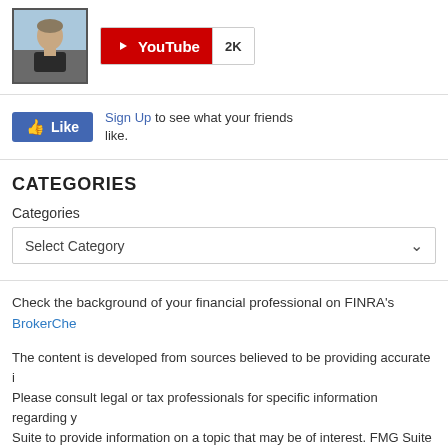[Figure (photo): Profile photo of a man outdoors, next to a YouTube subscribe button showing 2K subscribers]
Sign Up to see what your friends like.
CATEGORIES
Categories
Select Category
Check the background of your financial professional on FINRA's BrokerChe...
The content is developed from sources believed to be providing accurate i... Please consult legal or tax professionals for specific information regarding y... Suite to provide information on a topic that may be of interest. FMG Suite is... registered investment advisory firm. The opinions expressed and material p... the purchase or sale of any security.